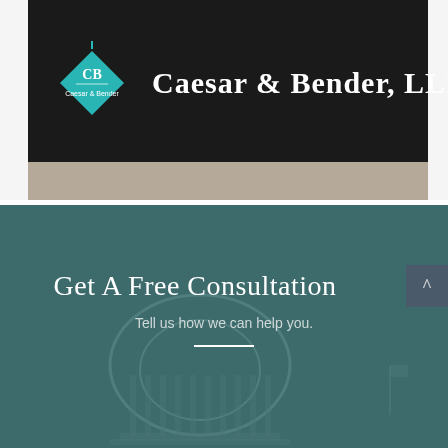[Figure (logo): Caesar & Bender LLP law firm logo with teal diamond shape containing 'CB' and 'Caesar & Bender' text, on dark background header bar]
Caesar & Bender, LLP
[Figure (photo): Background image showing a capitol building dome with teal/dark teal overlay]
Get A Free Consultation
Tell us how we can help you.